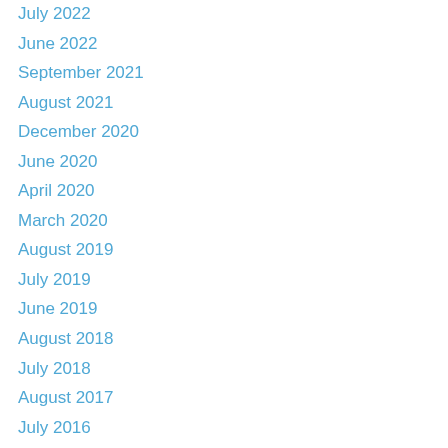July 2022
June 2022
September 2021
August 2021
December 2020
June 2020
April 2020
March 2020
August 2019
July 2019
June 2019
August 2018
July 2018
August 2017
July 2016
January 2016
August 2015
July 2015
May 2015
April 2015